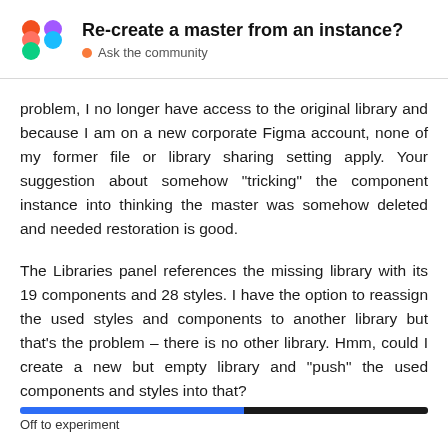Re-create a master from an instance? • Ask the community
problem, I no longer have access to the original library and because I am on a new corporate Figma account, none of my former file or library sharing setting apply. Your suggestion about somehow “tricking” the component instance into thinking the master was somehow deleted and needed restoration is good.
The Libraries panel references the missing library with its 19 components and 28 styles. I have the option to reassign the used styles and components to another library but that’s the problem – there is no other library. Hmm, could I create a new but empty library and “push” the used components and styles into that?
Off to experiment